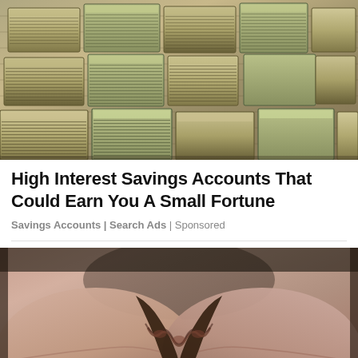[Figure (photo): Overhead photo of large stacks of bundled US dollar bills covering the entire frame]
High Interest Savings Accounts That Could Earn You A Small Fortune
Savings Accounts | Search Ads | Sponsored
[Figure (photo): Close-up photo of two open human palms pressed together at the fingers, showing wrinkled skin and interlinked fingers]